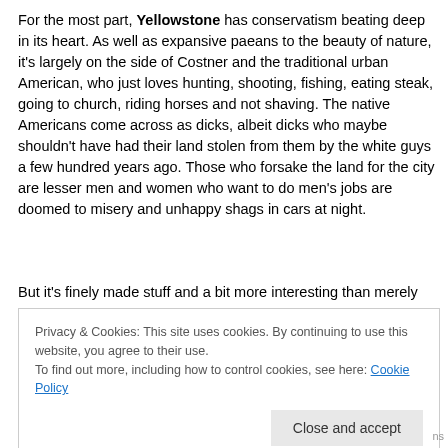For the most part, Yellowstone has conservatism beating deep in its heart. As well as expansive paeans to the beauty of nature, it's largely on the side of Costner and the traditional urban American, who just loves hunting, shooting, fishing, eating steak, going to church, riding horses and not shaving. The native Americans come across as dicks, albeit dicks who maybe shouldn't have had their land stolen from them by the white guys a few hundred years ago. Those who forsake the land for the city are lesser men and women who want to do men's jobs are doomed to misery and unhappy shags in cars at night.
But it's finely made stuff and a bit more interesting than merely
Privacy & Cookies: This site uses cookies. By continuing to use this website, you agree to their use.
To find out more, including how to control cookies, see here: Cookie Policy
Close and accept